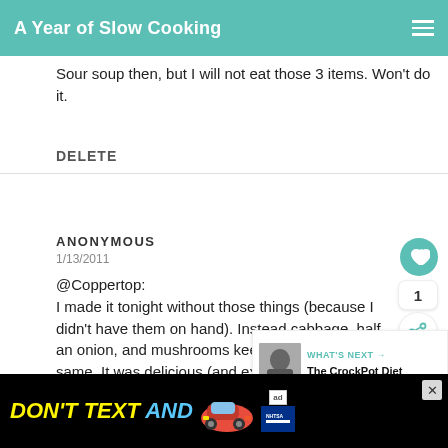A Year of Slow Cooking
Sour soup then, but I will not eat those 3 items. Won't do it.
DELETE
ANONYMOUS
1/13/2011
@Coppertop:
I made it tonight without those things (because I didn't have them on hand). Instead cabbage, half an onion, and mushrooms keeping the broth the same. It was delicious (and exactly what my almost-cold needed).
[Figure (screenshot): Advertisement banner: DON'T TEXT AND [car image] with ad badge and NHTSA logo]